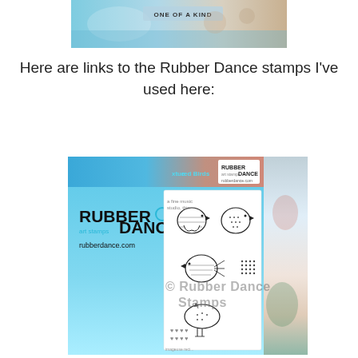[Figure (photo): Top partial image showing a craft/stamp product with blue and mixed-media background and text 'ONE OF A KIND']
Here are links to the Rubber Dance stamps I've used here:
[Figure (photo): Rubber Dance art stamps product packaging showing illustrated textured birds stamp set with the Rubber Dance logo and watermark, rubberdance.com]